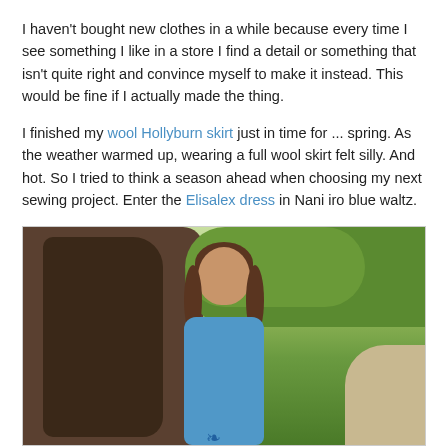I haven't bought new clothes in a while because every time I see something I like in a store I find a detail or something that isn't quite right and convince myself to make it instead. This would be fine if I actually made the thing.
I finished my wool Hollyburn skirt just in time for ... spring. As the weather warmed up, wearing a full wool skirt felt silly. And hot. So I tried to think a season ahead when choosing my next sewing project. Enter the Elisalex dress in Nani iro blue waltz.
[Figure (photo): A woman with long brown hair wearing a blue sleeveless dress standing outdoors in front of a large tree with green foliage in the background.]